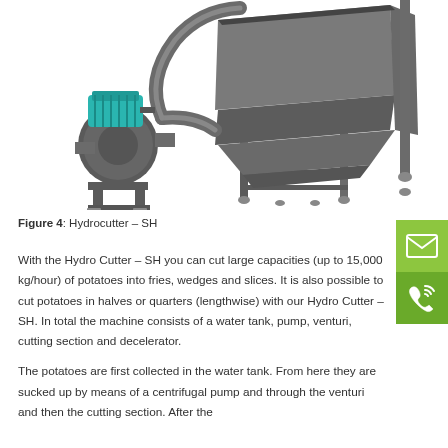[Figure (illustration): 3D render of a Hydrocutter SH machine showing a large hopper/tank on a steel frame stand on the right, connected via curved pipe to a centrifugal pump with teal electric motor on the left.]
Figure 4: Hydrocutter – SH
With the Hydro Cutter – SH you can cut large capacities (up to 15,000 kg/hour) of potatoes into fries, wedges and slices. It is also possible to cut potatoes in halves or quarters (lengthwise) with our Hydro Cutter – SH. In total the machine consists of a water tank, pump, venturi, cutting section and decelerator.
The potatoes are first collected in the water tank. From here they are sucked up by means of a centrifugal pump and through the venturi and then the cutting section. After the